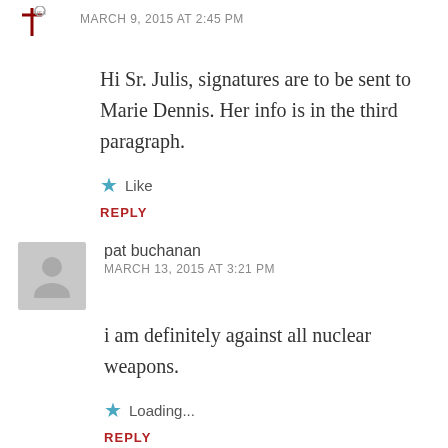MARCH 9, 2015 AT 2:45 PM
Hi Sr. Julis, signatures are to be sent to Marie Dennis. Her info is in the third paragraph.
Like
REPLY
pat buchanan
MARCH 13, 2015 AT 3:21 PM
i am definitely against all nuclear weapons.
Loading...
REPLY